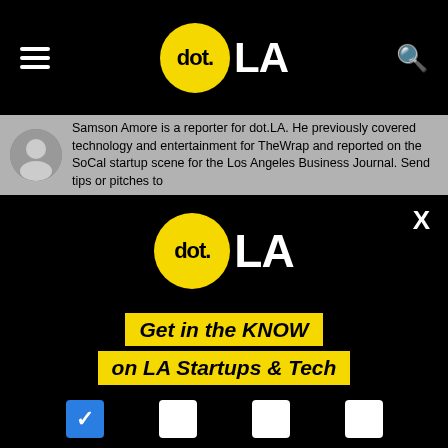[Figure (logo): dot.LA logo in top navigation bar with hamburger menu on left and search icon on right]
Samson Amore is a reporter for dot.LA. He previously covered technology and entertainment for TheWrap and reported on the SoCal startup scene for the Los Angeles Business Journal. Send tips or pitches to
[Figure (logo): dot.LA logo centered in modal overlay on black background]
Get in the KNOW on LA Startups & Tech
Email
[Figure (other): Checkboxes row at bottom: one checked (blue) and three unchecked (white)]